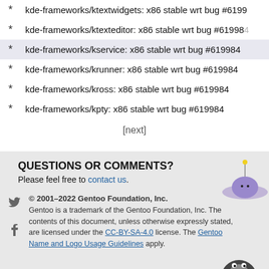kde-frameworks/ktextwidgets: x86 stable wrt bug #61994
kde-frameworks/ktexteditor: x86 stable wrt bug #619984
kde-frameworks/kservice: x86 stable wrt bug #619984
kde-frameworks/krunner: x86 stable wrt bug #619984
kde-frameworks/kross: x86 stable wrt bug #619984
kde-frameworks/kpty: x86 stable wrt bug #619984
[next]
QUESTIONS OR COMMENTS?
Please feel free to contact us.
© 2001–2022 Gentoo Foundation, Inc. Gentoo is a trademark of the Gentoo Foundation, Inc. The contents of this document, unless otherwise expressly stated, are licensed under the CC-BY-SA-4.0 license. The Gentoo Name and Logo Usage Guidelines apply.